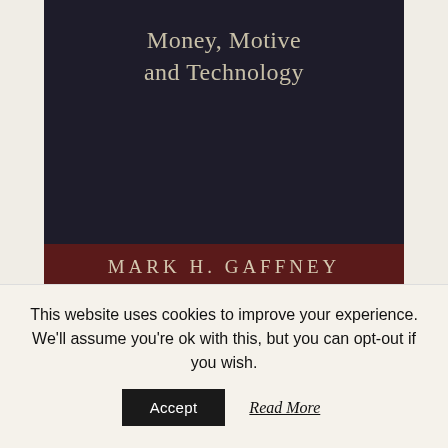[Figure (illustration): Book cover with dark navy/charcoal background. Title 'Money, Motive and Technology' in serif font centered near top. Author name 'MARK H. GAFFNEY' in spaced caps on a dark red/maroon band at the bottom of the cover.]
This website uses cookies to improve your experience. We'll assume you're ok with this, but you can opt-out if you wish.
Accept
Read More